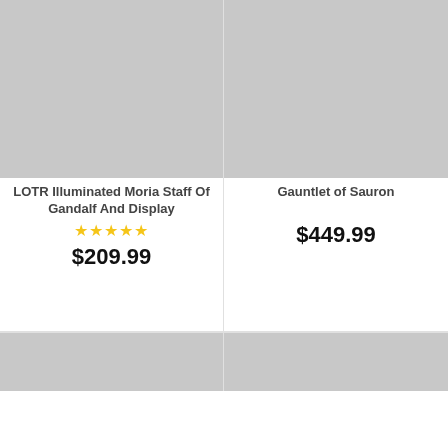[Figure (photo): Gray placeholder image for LOTR Illuminated Moria Staff product]
LOTR Illuminated Moria Staff Of Gandalf And Display
★★★★★
$209.99
[Figure (photo): Gray placeholder image for Gauntlet of Sauron product]
Gauntlet of Sauron
$449.99
[Figure (photo): Gray placeholder image for third product]
[Figure (photo): Gray placeholder image for fourth product]